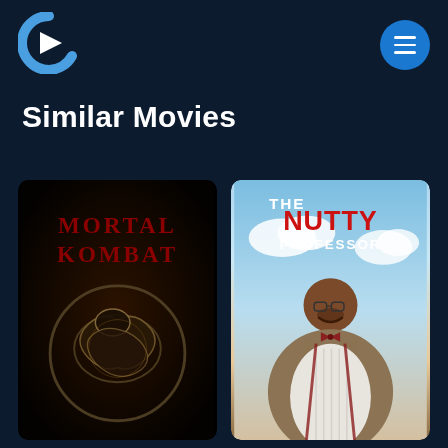[Figure (logo): Crackle streaming service logo - a stylized C with a play button triangle inside, blue and white colors]
[Figure (illustration): Blue circular menu/hamburger button with three horizontal white lines]
Similar Movies
[Figure (photo): Mortal Kombat movie poster - dark background with red text 'MORTAL KOMBAT' and a dragon logo emblem in the center]
[Figure (photo): The Nutty Professor movie poster - light blue sky background with text 'THE NUTTY PROFESSOR' and an overweight man in a tweed jacket and bow tie smiling at the camera]